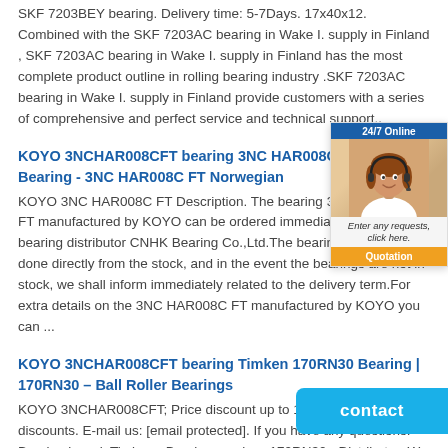SKF 7203BEY bearing. Delivery time: 5-7Days. 17x40x12. Combined with the SKF 7203AC bearing in Wake I. supply in Finland , SKF 7203AC bearing in Wake I. supply in Finland has the most complete product outline in rolling bearing industry .SKF 7203AC bearing in Wake I. supply in Finland provide customers with a series of comprehensive and perfect service and technical support..
KOYO 3NCHAR008CFT bearing 3NC HAR008C FT - KOYO Bearing - 3NC HAR008C FT Norwegian
KOYO 3NC HAR008C FT Description. The bearing 3NC HAR008C FT manufactured by KOYO can be ordered immediately from the bearing distributor CNHK Bearing Co.,Ltd.The bearings delivery is done directly from the stock, and in the event the bearings are not in stock, we shall inform immediately related to the delivery term.For extra details on the 3NC HAR008C FT manufactured by KOYO you can ...
KOYO 3NCHAR008CFT bearing Timken 170RN30 Bearing | 170RN30 – Ball Roller Bearings
KOYO 3NCHAR008CFT; Price discount up to 10 % More about discounts. E-mail us: [email protected]. If you have any questions! › Bearing brand: Timken › Bearing number: 170RN30 › Distributor: We provide the world's leading brand like skf,fag,timken,nsk,ntn,koyo,nachi and so on and with competitive price
[Figure (photo): 24/7 Online chat widget with woman wearing headset, tagline 'Enter any requests, click here.' and orange Quotation button]
[Figure (other): Blue contact button overlay at bottom right]